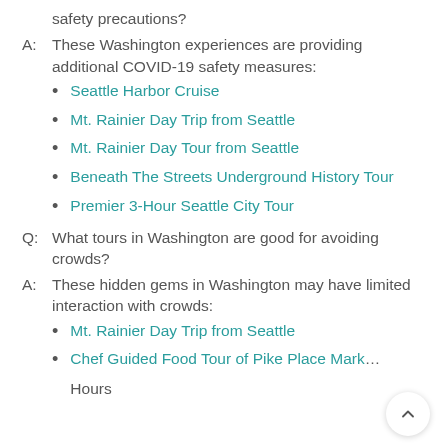safety precautions?
A: These Washington experiences are providing additional COVID-19 safety measures:
Seattle Harbor Cruise
Mt. Rainier Day Trip from Seattle
Mt. Rainier Day Tour from Seattle
Beneath The Streets Underground History Tour
Premier 3-Hour Seattle City Tour
Q: What tours in Washington are good for avoiding crowds?
A: These hidden gems in Washington may have limited interaction with crowds:
Mt. Rainier Day Trip from Seattle
Chef Guided Food Tour of Pike Place Mark... Hours